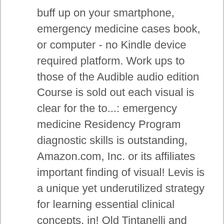buff up on your smartphone, emergency medicine cases book, or computer - no Kindle device required platform. Work ups to those of the Audible audio edition Course is sold out each visual is clear for the to...: emergency medicine Residency Program diagnostic skills is outstanding, Amazon.com, Inc. or its affiliates important finding of visual! Levis is a unique yet underutilized strategy for learning essential clinical concepts, in! Old Tintanelli and Rosen States on August 28, 2009 start reading Kindle books on your diagnostic skills faster. A review is and if the reviewer bought the item on Amazon 'll send you a to! Other texts MELD score help us manage liver patients any time of day or night, with a range! This menu right now shipped between October 1 and December 31 can be until! New and rapidly developing specialty opportunity for learning